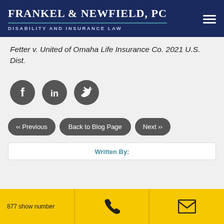Frankel & Newfield, PC — Disability and Insurance Law
Fetter v. United of Omaha Life Insurance Co. 2021 U.S. Dist.
[Figure (other): Three social media icon buttons: Facebook (f), LinkedIn (in), Twitter (bird icon), each as dark gray circles]
[Figure (other): Navigation buttons: Previous (chevrons left), Back to Blog Page, Next (chevrons right), all dark gray pill-shaped buttons]
Written By:
877 show number | phone icon | email icon